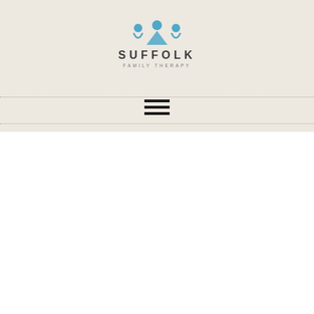[Figure (logo): Suffolk Family Therapy logo — stylized icon of three figures in blue above the text SUFFOLK in wide-spaced caps and FAMILY THERAPY in smaller caps below]
[Figure (other): Hamburger menu icon — three horizontal black bars stacked vertically, centered between two dotted horizontal lines]